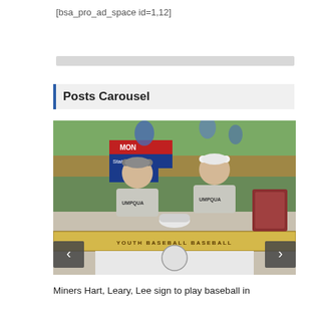[bsa_pro_ad_space id=1,12]
[Figure (other): Gray placeholder bar for advertisement space]
Posts Carousel
[Figure (photo): Two young men in Umpqua baseball shirts sitting at a table with a banner reading youth baseball, a white baseball hat, and a plaque. A sign in the background reads MONT State Championship. Navigation arrows visible on left and right.]
Miners Hart, Leary, Lee sign to play baseball in